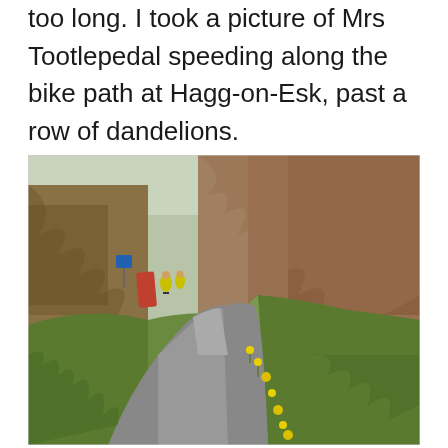too long. I took a picture of Mrs Tootlepedal speeding along the bike path at Hagg-on-Esk, past a row of dandelions.
[Figure (photo): A paved bike path winding through overgrown dry grass and hedgerows, with yellow dandelions along the right edge. Two cyclists in high-visibility yellow jackets are visible in the distance on the path. A blue sign is visible on the left side of the path.]